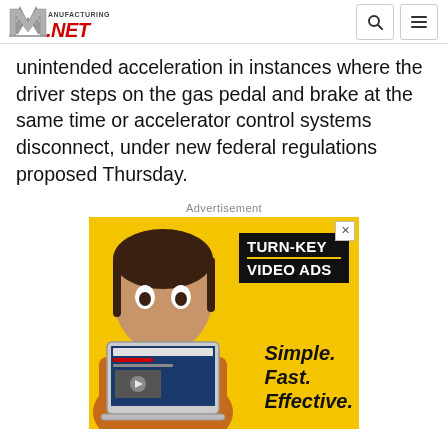Manufacturing.net
unintended acceleration in instances where the driver steps on the gas pedal and brake at the same time or accelerator control systems disconnect, under new federal regulations proposed Thursday.
Advertisement
[Figure (photo): Advertisement banner with yellow background showing a woman holding a laptop displaying a website, with text 'TURN-KEY VIDEO ADS Simple. Fast. Effective.']